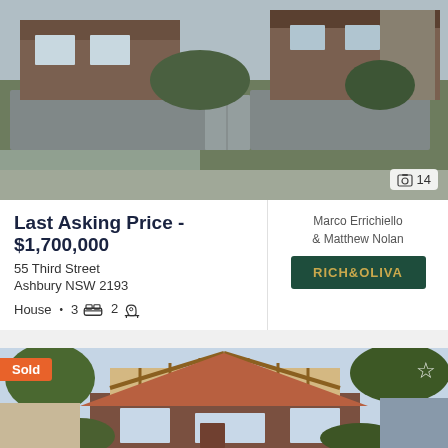[Figure (photo): Exterior photo of a brick house with grey rendered fence and gate, two-storey brick home in background. Photo counter showing 14 images.]
Last Asking Price - $1,700,000
55 Third Street
Ashbury NSW 2193
House • 3 🛏 2 🛁
Marco Errichiello & Matthew Nolan
[Figure (logo): RICH&OLIVA agency logo — dark green background with gold text]
[Figure (photo): Exterior photo of a bungalow-style brick house with timber gable detail, 'Sold' badge overlay and star favourites icon.]